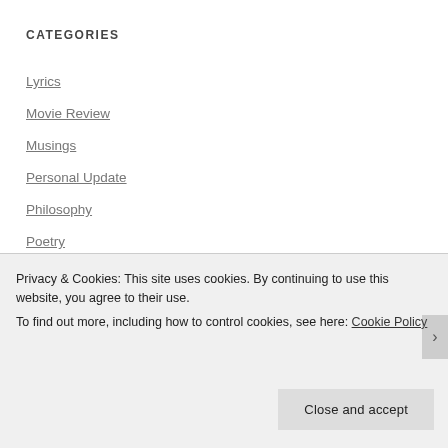CATEGORIES
Lyrics
Movie Review
Musings
Personal Update
Philosophy
Poetry
Top Ten Songs
Uncategorized
Why You Should Watch...
Privacy & Cookies: This site uses cookies. By continuing to use this website, you agree to their use.
To find out more, including how to control cookies, see here: Cookie Policy
Close and accept